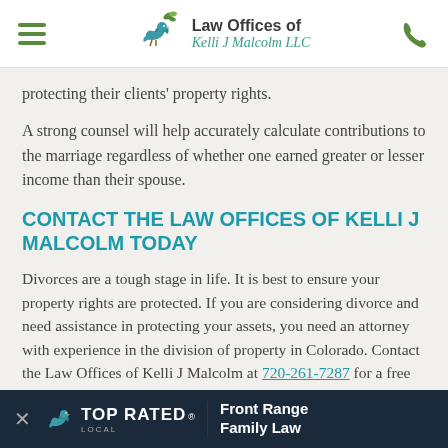Law Offices of Kelli J Malcolm LLC
protecting their clients' property rights.
A strong counsel will help accurately calculate contributions to the marriage regardless of whether one earned greater or lesser income than their spouse.
CONTACT THE LAW OFFICES OF KELLI J MALCOLM TODAY
Divorces are a tough stage in life. It is best to ensure your property rights are protected. If you are considering divorce and need assistance in protecting your assets, you need an attorney with experience in the division of property in Colorado. Contact the Law Offices of Kelli J Malcolm at 720-261-7287 for a free 30-minute phone consultation.
Attorney Advertising. This website is designed for general information only. T... be construed to...
[Figure (logo): Top Rated Local banner with Front Range Family Law text on dark navy background]